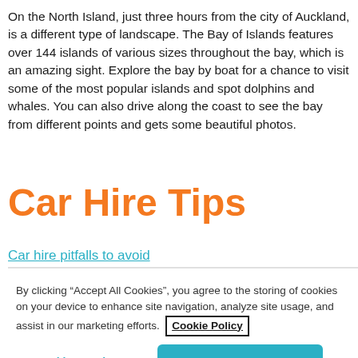On the North Island, just three hours from the city of Auckland, is a different type of landscape. The Bay of Islands features over 144 islands of various sizes throughout the bay, which is an amazing sight. Explore the bay by boat for a chance to visit some of the most popular islands and spot dolphins and whales. You can also drive along the coast to see the bay from different points and gets some beautiful photos.
Car Hire Tips
Car hire pitfalls to avoid
By clicking “Accept All Cookies”, you agree to the storing of cookies on your device to enhance site navigation, analyze site usage, and assist in our marketing efforts. Cookie Policy